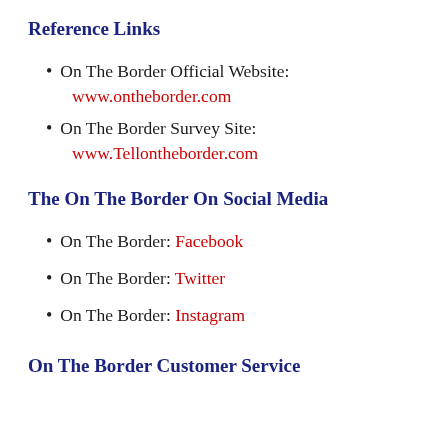Reference Links
On The Border Official Website:
www.ontheborder.com
On The Border Survey Site:
www.Tellontheborder.com
The On The Border On Social Media
On The Border: Facebook
On The Border: Twitter
On The Border: Instagram
On The Border Customer Service